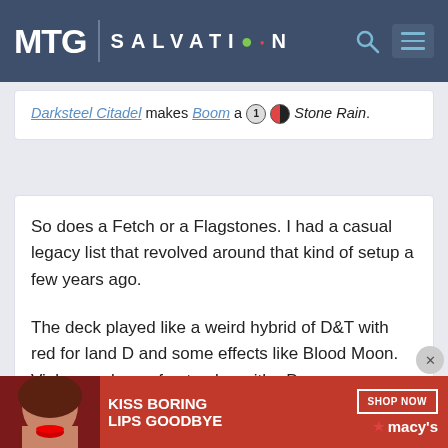MTG SALVATION
Darksteel Citadel makes Boom a [1][BR] Stone Rain.
So does a Fetch or a Flagstones. I had a casual legacy list that revolved around that kind of setup a few years ago.

The deck played like a weird hybrid of D&T with red for land D and some effects like Blood Moon. Vials are always fun to play with =D
[Figure (photo): Macy's advertisement banner: 'KISS BORING LIPS GOODBYE' with SHOP NOW button and Macy's star logo]